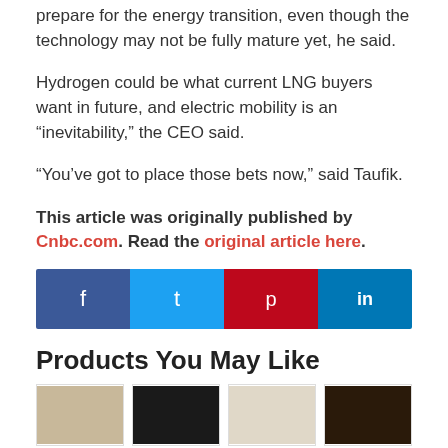prepare for the energy transition, even though the technology may not be fully mature yet, he said.
Hydrogen could be what current LNG buyers want in future, and electric mobility is an “inevitability,” the CEO said.
“You’ve got to place those bets now,” said Taufik.
This article was originally published by Cnbc.com. Read the original article here.
[Figure (infographic): Social share bar with four buttons: Facebook (blue), Twitter (light blue), Pinterest (red), LinkedIn (dark blue), each with respective icons.]
Products You May Like
[Figure (photo): Row of four product images/thumbnails at the bottom of the page.]